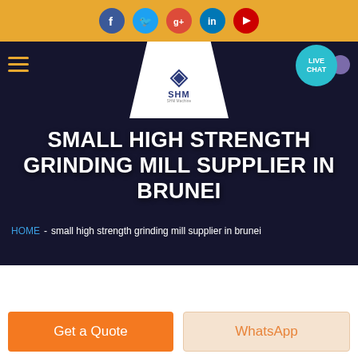[Figure (screenshot): Website header with social media icons (Facebook, Twitter, Google+, LinkedIn, YouTube) on an orange/gold background bar]
[Figure (screenshot): Website navigation bar with hamburger menu, SHM logo on white trapezoid shape, and LIVE CHAT button, over a dark blue background with a blurred photo]
SMALL HIGH STRENGTH GRINDING MILL SUPPLIER IN BRUNEI
HOME  -  small high strength grinding mill supplier in brunei
[Figure (screenshot): Get a Quote orange button and WhatsApp peach/cream button at the bottom of the page]